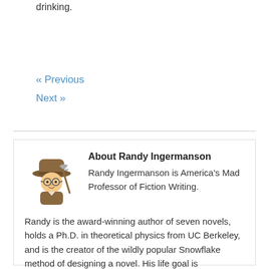drinking.
« Previous
Next »
[Figure (illustration): Cartoon illustration of a man wearing a brown fedora hat and glasses, holding a pickaxe, depicted in a comic style suggesting an adventurer or professor character.]
About Randy Ingermanson
Randy Ingermanson is America's Mad Professor of Fiction Writing. Randy is the award-winning author of seven novels, holds a Ph.D. in theoretical physics from UC Berkeley, and is the creator of the wildly popular Snowflake method of designing a novel. His life goal is